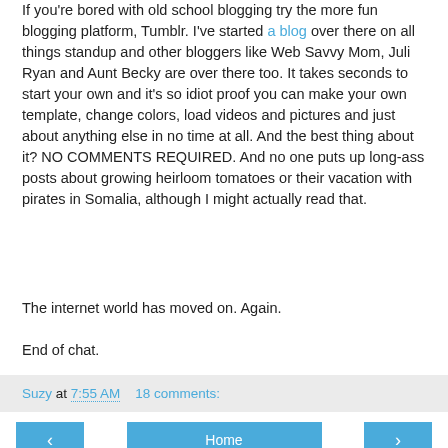If you're bored with old school blogging try the more fun blogging platform, Tumblr. I've started a blog over there on all things standup and other bloggers like Web Savvy Mom, Juli Ryan and Aunt Becky are over there too. It takes seconds to start your own and it's so idiot proof you can make your own template, change colors, load videos and pictures and just about anything else in no time at all. And the best thing about it? NO COMMENTS REQUIRED. And no one puts up long-ass posts about growing heirloom tomatoes or their vacation with pirates in Somalia, although I might actually read that.
The internet world has moved on. Again.
End of chat.
Suzy at 7:55 AM    18 comments:
‹    Home    ›
View web version